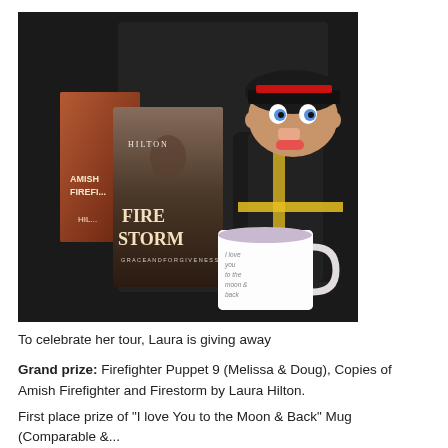[Figure (photo): Photo of a giveaway prize set: a firefighter plush puppet (Melissa & Doug), two books with 'HILTON' and 'FIRESTORM' on the covers labeled 'AMISH FIREFI...', and a white coffee mug reading 'I love you to the moon and back' on a dark background.]
To celebrate her tour, Laura is giving away
Grand prize: Firefighter Puppet 9 (Melissa & Doug), Copies of Amish Firefighter and Firestorm by Laura Hilton.
First place prize of "I love You to the Moon & Back" Mug (Comparable &...